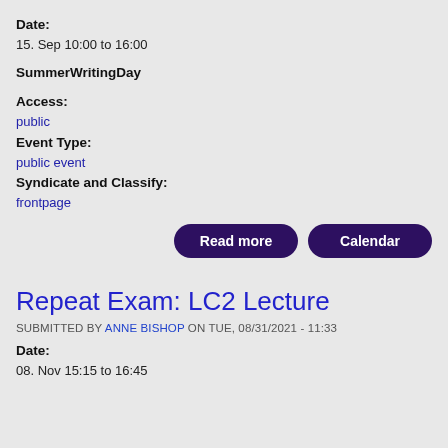Date:
15. Sep 10:00 to 16:00
SummerWritingDay
Access:
public
Event Type:
public event
Syndicate and Classify:
frontpage
[Figure (other): Two dark purple rounded buttons labeled 'Read more' and 'Calendar']
Repeat Exam: LC2 Lecture
SUBMITTED BY ANNE BISHOP ON TUE, 08/31/2021 - 11:33
Date:
08. Nov 15:15 to 16:45